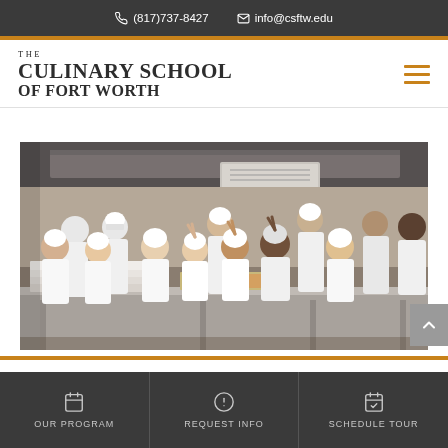(817)737-8427  info@csftw.edu
THE CULINARY SCHOOL OF FORT WORTH
[Figure (photo): Group photo of culinary students in white chef uniforms and hats posing together in a commercial kitchen, with baking trays on a stainless steel table in front of them.]
OUR PROGRAM  REQUEST INFO  SCHEDULE TOUR